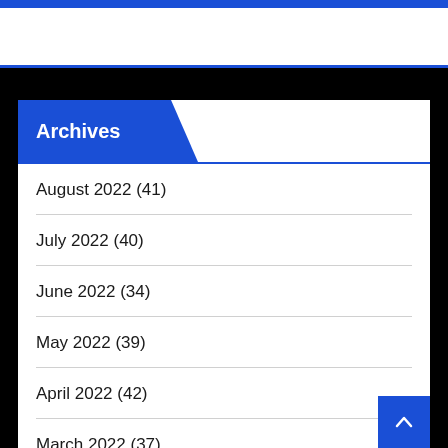Archives
August 2022 (41)
July 2022 (40)
June 2022 (34)
May 2022 (39)
April 2022 (42)
March 2022 (37)